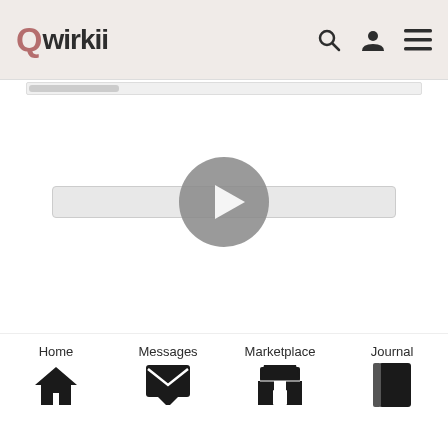[Figure (screenshot): Qwirkii app navigation bar with logo, search, profile, and menu icons]
[Figure (screenshot): Video player area showing a grey background with a circular play button in the center]
[Figure (screenshot): Bottom navigation bar with Home, Messages, Marketplace, and Journal icons and labels]